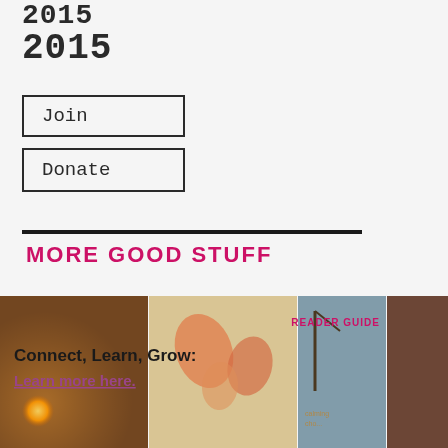2015
Join
Donate
MORE GOOD STUFF
[Figure (photo): Photo strip with four images: warm amber-lit room, colorful food/ingredients, map or illustrated art, dark wood background. Overlaid text reads 'READER GUIDE', 'Connect, Learn, Grow:', and 'Learn more here.']